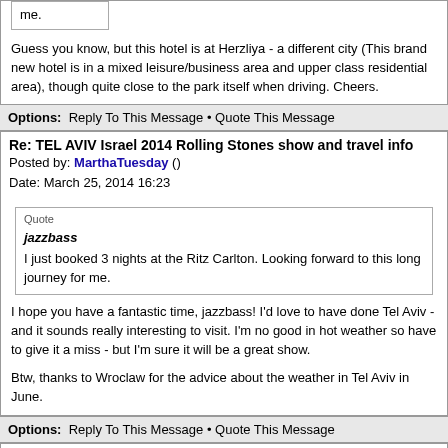me.
Guess you know, but this hotel is at Herzliya - a different city (This brand new hotel is in a mixed leisure/business area and upper class residential area), though quite close to the park itself when driving. Cheers.
Options: Reply To This Message • Quote This Message
Re: TEL AVIV Israel 2014 Rolling Stones show and travel info
Posted by: MarthaTuesday ()
Date: March 25, 2014 16:23
Quote
jazzbass
I just booked 3 nights at the Ritz Carlton. Looking forward to this long journey for me.
I hope you have a fantastic time, jazzbass! I'd love to have done Tel Aviv - and it sounds really interesting to visit. I'm no good in hot weather so have to give it a miss - but I'm sure it will be a great show.

Btw, thanks to Wroclaw for the advice about the weather in Tel Aviv in June.
Options: Reply To This Message • Quote This Message
Re: TEL AVIV Israel 2014 Rolling Stones show and travel info
Posted by: Medzvel ()
Date: March 25, 2014 16:29
Wroclaw, Thanks a lot for Your advice about Tel Aviv.